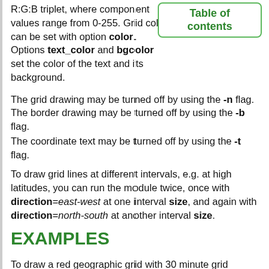R:G:B triplet, where component values range from 0-255. Grid color can be set with option color. Options text_color and bgcolor set the color of the text and its background.
The grid drawing may be turned off by using the -n flag.
The border drawing may be turned off by using the -b flag.
The coordinate text may be turned off by using the -t flag.
To draw grid lines at different intervals, e.g. at high latitudes, you can run the module twice, once with direction=east-west at one interval size, and again with direction=north-south at another interval size.
EXAMPLES
To draw a red geographic grid with 30 minute grid spacing, run one of the following commands:
d.grid -g size=00:30:00 color=red